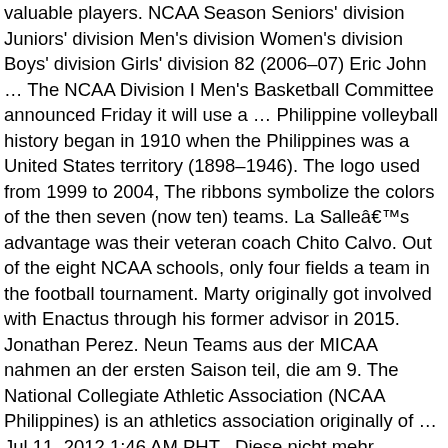valuable players. NCAA Season Seniors' division Juniors' division Men's division Women's division Boys' division Girls' division 82 (2006–07) Eric John … The NCAA Division I Men's Basketball Committee announced Friday it will use a … Philippine volleyball history began in 1910 when the Philippines was a United States territory (1898–1946). The logo used from 1999 to 2004, The ribbons symbolize the colors of the then seven (now ten) teams. La Salleâ€™s advantage was their veteran coach Chito Calvo. Out of the eight NCAA schools, only four fields a team in the football tournament. Marty originally got involved with Enactus through his former advisor in 2015. Jonathan Perez. Neun Teams aus der MICAA nahmen an der ersten Saison teil, die am 9. The National Collegiate Athletic Association (NCAA Philippines) is an athletics association originally of … Jul 11, 2012 1:46 AM PHT . Diese nicht mehr existente Vorgängerliga wurde von der heute inaktiven Basketball Association of the Philippines geleitet. The decision of the Board of Directors to file papers o… For the American organization, see National Collegiate Athletic Association. The Filipinos have made significant contributions to volleyball in its evolution as a professional and international game. There are almost 350 Division I schools, representing all 50 states. There are currently 357 American colleges and universities classified as Division I for NCAA